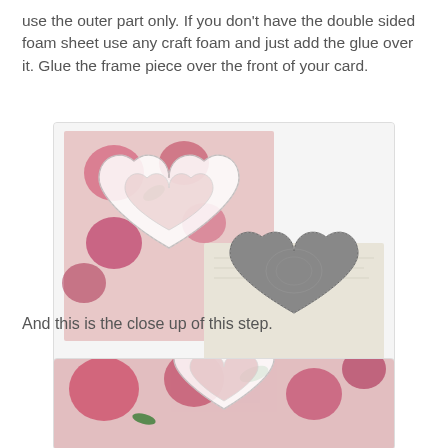use the outer part only. If you don't have the double sided foam sheet use any craft foam and just add the glue over it. Glue the frame piece over the front of your card.
[Figure (photo): Photo showing two craft cards: one with a floral pink background and a white lacy heart frame glued on top, and another card showing a grey/silver decorative heart doily. Bottom of image shows 'Papercicious' logo and 'handcrafted by orit shalom' text.]
And this is the close up of this step.
[Figure (photo): Close up photo of the card showing a white lacy heart frame glued over a pink floral patterned card background.]